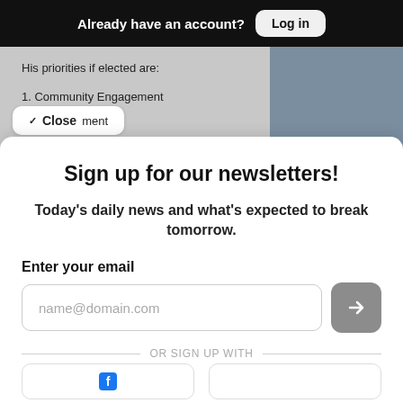Already have an account? Log in
His priorities if elected are:
1. Community Engagement
Close
Sign up for our newsletters!
Today's daily news and what's expected to break tomorrow.
Enter your email
name@domain.com
OR SIGN UP WITH